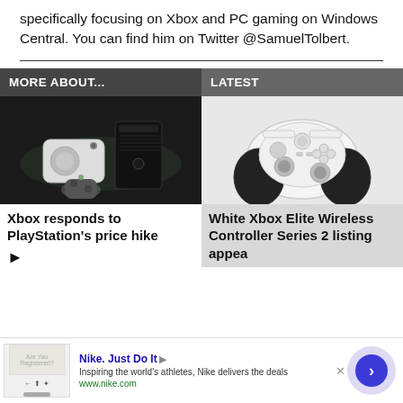specifically focusing on Xbox and PC gaming on Windows Central. You can find him on Twitter @SamuelTolbert.
MORE ABOUT...
LATEST
[Figure (photo): Xbox Series S (white) and Xbox Series X (black) consoles with controller]
Xbox responds to PlayStation's price hike
[Figure (photo): White Xbox Elite Wireless Controller Series 2]
White Xbox Elite Wireless Controller Series 2 listing appea...
Nike. Just Do It
Inspiring the world's athletes, Nike delivers the deals
www.nike.com